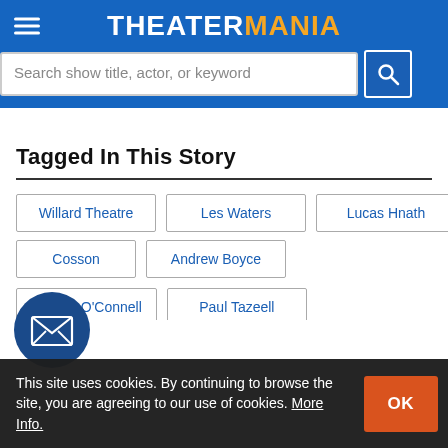THEATERMANIA
Search show title, actor, or keyword
Tagged In This Story
Willard Theatre
Les Waters
Lucas Hnath
Cosson
Andrew Boyce
Deirdre O'Connell
Paul Tazeell
[Figure (other): Email newsletter subscription button — circular dark blue icon with envelope/letter graphic]
This site uses cookies. By continuing to browse the site, you are agreeing to our use of cookies. More Info.